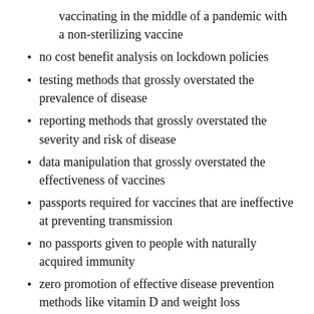vaccinating in the middle of a pandemic with a non-sterilizing vaccine
no cost benefit analysis on lockdown policies
testing methods that grossly overstated the prevalence of disease
reporting methods that grossly overstated the severity and risk of disease
data manipulation that grossly overstated the effectiveness of vaccines
passports required for vaccines that are ineffective at preventing transmission
no passports given to people with naturally acquired immunity
zero promotion of effective disease prevention methods like vitamin D and weight loss